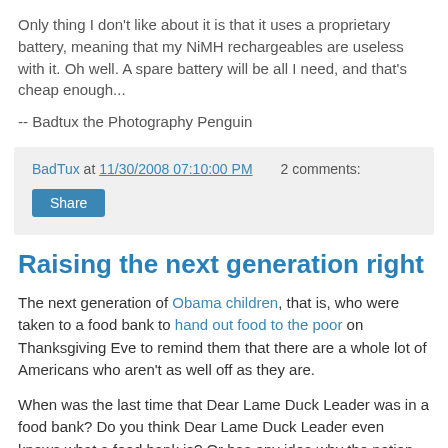Only thing I don't like about it is that it uses a proprietary battery, meaning that my NiMH rechargeables are useless with it. Oh well. A spare battery will be all I need, and that's cheap enough...
-- Badtux the Photography Penguin
BadTux at 11/30/2008 07:10:00 PM   2 comments:
Share
Raising the next generation right
The next generation of Obama children, that is, who were taken to a food bank to hand out food to the poor on Thanksgiving Eve to remind them that there are a whole lot of Americans who aren't as well off as they are.
When was the last time that Dear Lame Duck Leader was in a food bank? Do you think Dear Lame Duck Leader even knows what a food bank is? Or has any idea why the nation...